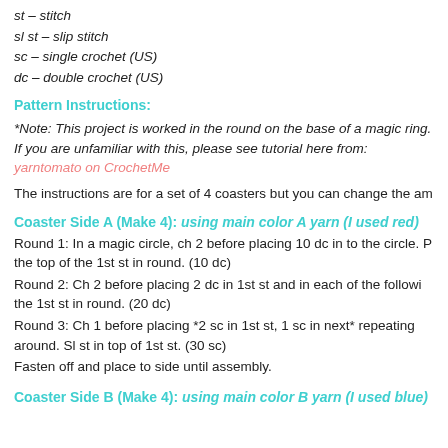st – stitch
sl st – slip stitch
sc – single crochet (US)
dc – double crochet (US)
Pattern Instructions:
*Note: This project is worked in the round on the base of a magic ring. If you are unfamiliar with this, please see tutorial here from: yarntomato on CrochetMe
The instructions are for a set of 4 coasters but you can change the amount as you wish.
Coaster Side A (Make 4): using main color A yarn (I used red)
Round 1: In a magic circle, ch 2 before placing 10 dc in to the circle. Pull tight and sl st in the top of the 1st st in round. (10 dc)
Round 2:  Ch 2 before placing 2 dc in 1st st and in each of the following sts. Sl st in top of the 1st st in round. (20 dc)
Round 3: Ch 1 before placing  *2 sc in 1st st, 1 sc in next*  repeating around.  Sl st in top of 1st st.  (30 sc)
Fasten off and place to side until assembly.
Coaster Side B (Make 4): using main color B yarn (I used blue)